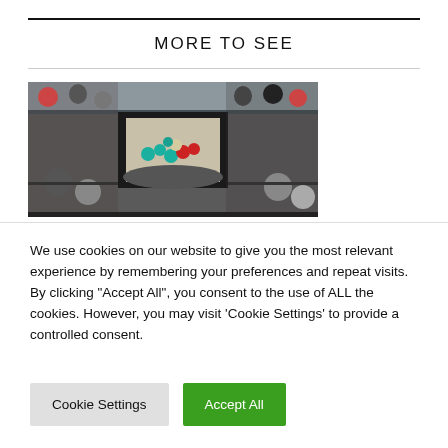MORE TO SEE
[Figure (photo): Aerial view looking down into a multi-story shopping mall atrium with crowds of people and colorful balloons (teal, red, cream) visible on a lower level, people leaning on glass railings on upper floors.]
We use cookies on our website to give you the most relevant experience by remembering your preferences and repeat visits. By clicking "Accept All", you consent to the use of ALL the cookies. However, you may visit 'Cookie Settings' to provide a controlled consent.
Cookie Settings | Accept All